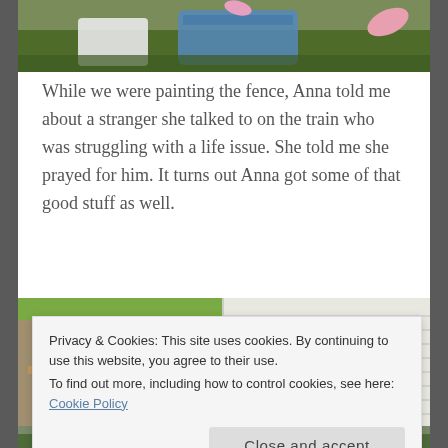[Figure (photo): Partial view of outdoor items including a blue laundry basket and pink leaves on green grass, cropped at top of page]
While we were painting the fence, Anna told me about a stranger she talked to on the train who was struggling with a life issue. She told me she prayed for him. It turns out Anna got some of that good stuff as well.
[Figure (photo): Two side-by-side photos of a wooden picket fence being painted and a house exterior siding with folding chairs leaning against it]
Privacy & Cookies: This site uses cookies. By continuing to use this website, you agree to their use.
To find out more, including how to control cookies, see here: Cookie Policy
Close and accept
[Figure (photo): Partial bottom photo of garden or outdoor scene, barely visible at bottom edge]